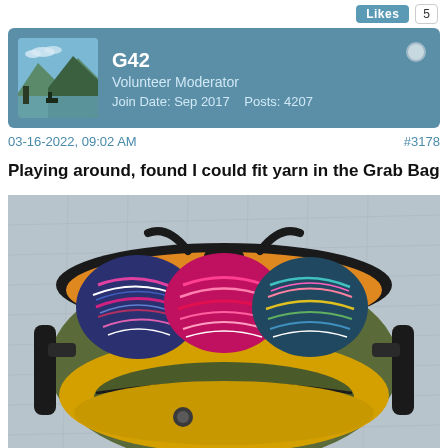Likes  5
G42
Volunteer Moderator
Join Date: Sep 2017    Posts: 4207
03-16-2022, 09:02 AM
#3178
Playing around, found I could fit yarn in the Grab Bag
[Figure (photo): Open olive-green and yellow grab bag filled with colorful skeins of yarn (pink, multicolor), sitting on a gray quilted surface.]